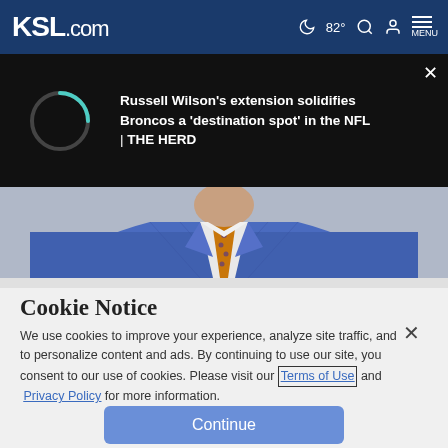KSL.com — 82° MENU
[Figure (screenshot): Video player banner on dark background showing a loading spinner on the left and text: "Russell Wilson's extension solidifies Broncos a 'destination spot' in the NFL | THE HERD" on the right, with a close (×) button.]
[Figure (photo): Cropped photo of a man wearing a blue plaid suit jacket, white dress shirt, and an orange/gold patterned tie. Only the torso/chest is visible.]
Cookie Notice
We use cookies to improve your experience, analyze site traffic, and to personalize content and ads. By continuing to use our site, you consent to our use of cookies. Please visit our Terms of Use and  Privacy Policy for more information.
Continue